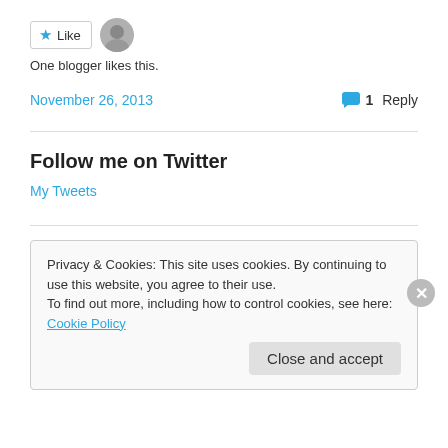[Figure (other): Like button with star icon and avatar of a person]
One blogger likes this.
November 26, 2013   💬 1 Reply
Follow me on Twitter
My Tweets
Privacy & Cookies: This site uses cookies. By continuing to use this website, you agree to their use.
To find out more, including how to control cookies, see here: Cookie Policy
Close and accept